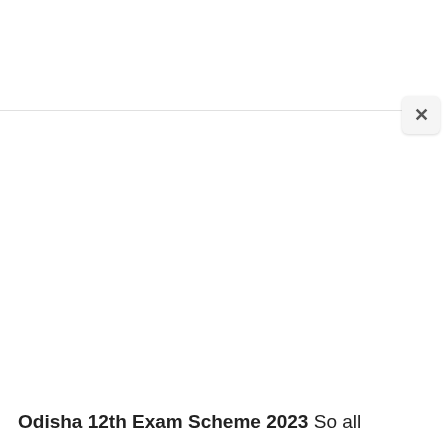[Figure (screenshot): Close button (×) UI element in top-right area with a horizontal divider line below it]
Odisha 12th Exam Scheme 2023 So all